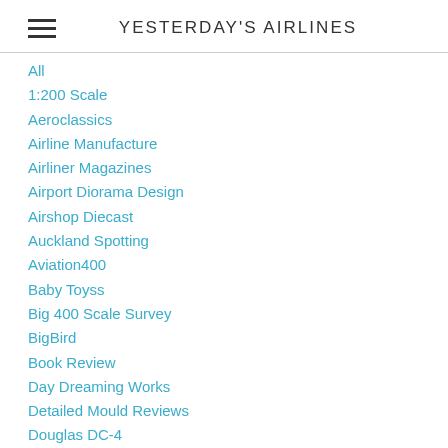YESTERDAY'S AIRLINES
All
1:200 Scale
Aeroclassics
Airline Manufacture
Airliner Magazines
Airport Diorama Design
Airshop Diecast
Auckland Spotting
Aviation400
Baby Toyss
Big 400 Scale Survey
BigBird
Book Review
Day Dreaming Works
Detailed Mould Reviews
Douglas DC-4
Dowse National Airport